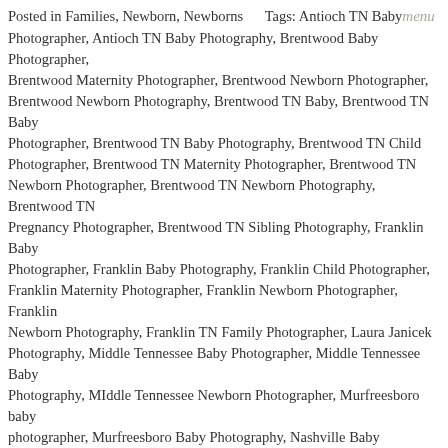Posted in Families, Newborn, Newborns     Tags: Antioch TN Baby menu Photographer, Antioch TN Baby Photography, Brentwood Baby Photographer, Brentwood Maternity Photographer, Brentwood Newborn Photographer, Brentwood Newborn Photography, Brentwood TN Baby, Brentwood TN Baby Photographer, Brentwood TN Baby Photography, Brentwood TN Child Photographer, Brentwood TN Maternity Photographer, Brentwood TN Newborn Photographer, Brentwood TN Newborn Photography, Brentwood TN Pregnancy Photographer, Brentwood TN Sibling Photography, Franklin Baby Photographer, Franklin Baby Photography, Franklin Child Photographer, Franklin Maternity Photographer, Franklin Newborn Photographer, Franklin Newborn Photography, Franklin TN Family Photographer, Laura Janicek Photography, Middle Tennessee Baby Photographer, Middle Tennessee Baby Photography, MIddle Tennessee Newborn Photographer, Murfreesboro baby photographer, Murfreesboro Baby Photography, Nashville Baby Photographer, Nolensville Baby Photographer, Nolensville Child Photographer, Nolensville Newborn Photographer, Nolensville newborn photography, Spring Hill Baby Photographer
There’s nothing quite like seeing your newborn baby for the very first time.  It’s amazing and beautiful and something you’ll never forget.  But these babies